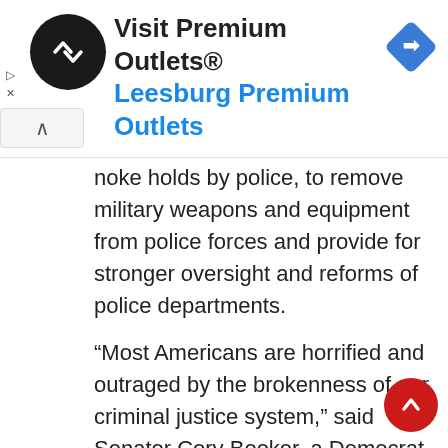[Figure (other): Advertisement banner for Visit Premium Outlets — Leesburg Premium Outlets, with logo, navigation icon, and collapse arrow button]
noke holds by police, to remove military weapons and equipment from police forces and provide for stronger oversight and reforms of police departments.
“Most Americans are horrified and outraged by the brokenness of our criminal justice system,” said Senator Cory Booker, a Democrat and former mayor of Newark, New Jersey, a majority African American city.
“We must now act on policing,” Booker sa…